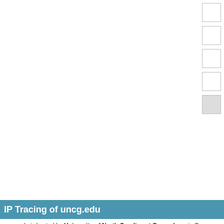[Figure (other): Loading spinner icon in top area of webpage screenshot]
IP Tracing of uncg.edu
uncg.edu is hosted by University of North Carolina at Greensboro in Gree
| Country: | United States 🇺🇸 |
| City: | Greensboro |
| Region: | North Carolina |
| Latitude: | 36.0661 |
| Longitude: | -79.8067 |
| ASNum: | AS53795 University of North Carolina at Gree |